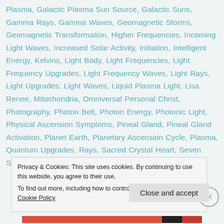Plasma, Galactic Plasma Sun Source, Galactic Suns, Gamma Rays, Gamma Waves, Geomagnetic Storms, Geomagnetic Transformation, Higher Frequencies, Incoming Light Waves, Increased Solar Activity, Initiation, Intelligent Energy, Kelvins, Light Body, Light Frequencies, Light Frequency Upgrades, Light Frequency Waves, Light Rays, Light Upgrades, Light Waves, Liquid Plasma Light, Lisa Renee, Mitochondria, Omniversal Personal Christ, Photography, Photon Belt, Photon Energy, Photonic Light, Physical Ascension Symptoms, Pineal Gland, Pineal Gland Activation, Planet Earth, Planetary Ascension Cycle, Plasma, Quantum Upgrades, Rays, Sacred Crystal Heart, Seven Sacred Suns,
Privacy & Cookies: This site uses cookies. By continuing to use this website, you agree to their use. To find out more, including how to control cookies, see here: Cookie Policy
Close and accept